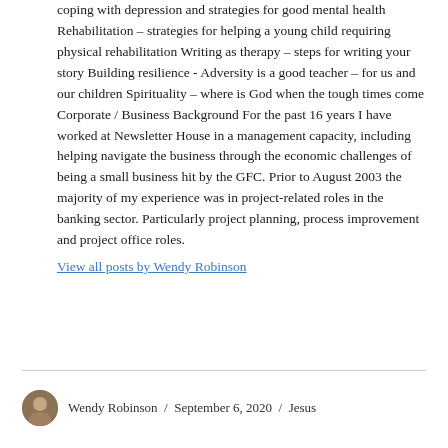coping with depression and strategies for good mental health Rehabilitation – strategies for helping a young child requiring physical rehabilitation Writing as therapy – steps for writing your story Building resilience - Adversity is a good teacher – for us and our children Spirituality – where is God when the tough times come Corporate / Business Background For the past 16 years I have worked at Newsletter House in a management capacity, including helping navigate the business through the economic challenges of being a small business hit by the GFC. Prior to August 2003 the majority of my experience was in project-related roles in the banking sector. Particularly project planning, process improvement and project office roles.
View all posts by Wendy Robinson
Wendy Robinson / September 6, 2020 / Jesus